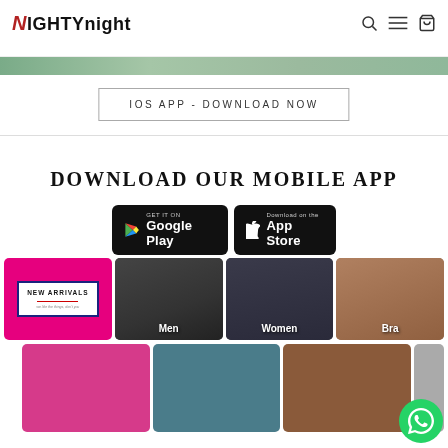NIGHTYnight
IOS APP - DOWNLOAD NOW
DOWNLOAD OUR MOBILE APP
[Figure (screenshot): Google Play and App Store download buttons on black rounded rectangles]
[Figure (photo): Category grid: New Arrivals (pink background with white box), Men, Women, Bra, and three more categories below]
[Figure (illustration): WhatsApp chat button (green circle with phone icon) in bottom right corner]